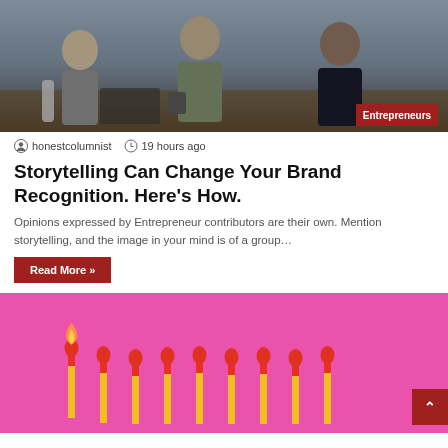[Figure (photo): Group of people in a business meeting or casual office setting, standing around a table. Partly visible figures in conversation.]
honestcolumnist   19 hours ago
Storytelling Can Change Your Brand Recognition. Here's How.
Opinions expressed by Entrepreneur contributors are their own. Mention storytelling, and the image in your mind is of a group…
Read More »
[Figure (photo): Pink background with a row of matchsticks standing upright; the first one on the left is lit with a small flame.]